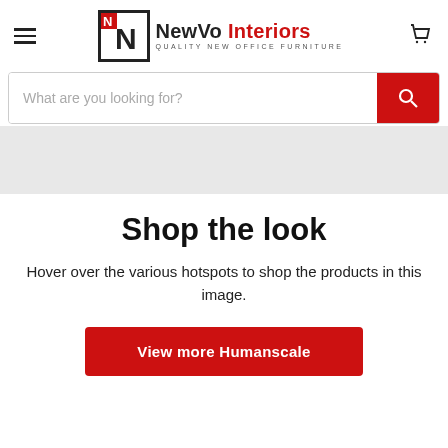NewVo Interiors — QUALITY NEW OFFICE FURNITURE
What are you looking for?
[Figure (other): Gray banner placeholder area]
Shop the look
Hover over the various hotspots to shop the products in this image.
View more Humanscale